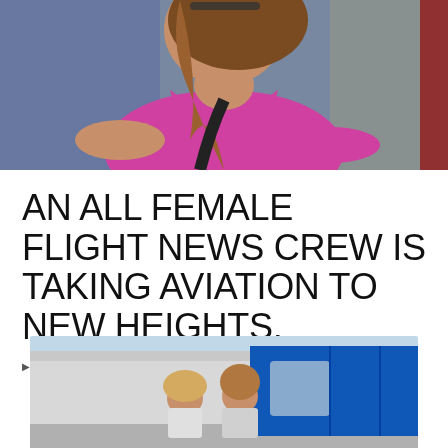[Figure (photo): Close-up photo of a woman in a pink/magenta top wearing glasses on her head, seated in an aircraft cockpit with blue/grey seat visible and black shoulder strap.]
AN ALL FEMALE FLIGHT NEWS CREW IS TAKING AVIATION TO NEW HEIGHTS.
▶ VIDEO   🕐 MARCH 8, 2021   💬 LEAVE A COMMENT
[Figure (photo): Two women posing in front of a blue helicopter, with a white hangar building visible in the background under a light sky.]